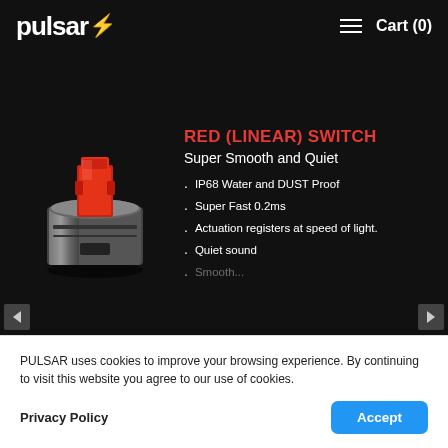pulsar — Cart (0)
[Figure (photo): Red linear mechanical keyboard switch with red stem and silver metallic housing, photographed on dark background]
RED (LINEAR) SWITCH
Super Smooth and Quiet
IP68 Water and DUST Proof
Super Fast 0.2ms
Actuation registers at speed of light.
Quiet sound
PULSAR uses cookies to improve your browsing experience. By continuing to visit this website you agree to our use of cookies.
Privacy Policy
Accept